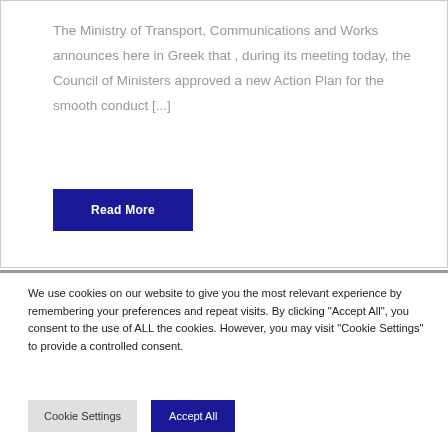The Ministry of Transport, Communications and Works announces here in Greek that , during its meeting today, the Council of Ministers approved a new Action Plan for the smooth conduct [...]
Read More
We use cookies on our website to give you the most relevant experience by remembering your preferences and repeat visits. By clicking "Accept All", you consent to the use of ALL the cookies. However, you may visit "Cookie Settings" to provide a controlled consent.
Cookie Settings
Accept All